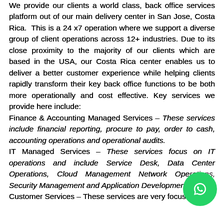We provide our clients a world class, back office services platform out of our main delivery center in San Jose, Costa Rica. This is a 24 x7 operation where we support a diverse group of client operations across 12+ industries. Due to its close proximity to the majority of our clients which are based in the USA, our Costa Rica center enables us to deliver a better customer experience while helping clients rapidly transform their key back office functions to be both more operationally and cost effective. Key services we provide here include: Finance & Accounting Managed Services – These services include financial reporting, procure to pay, order to cash, accounting operations and operational audits. IT Managed Services – These services focus on IT operations and include Service Desk, Data Center Operations, Cloud Management Network Operations, Security Management and Application Development. Customer Services – These services are very focused on
[Figure (other): WhatsApp contact button (green circle with phone/WhatsApp icon) in bottom-right corner]